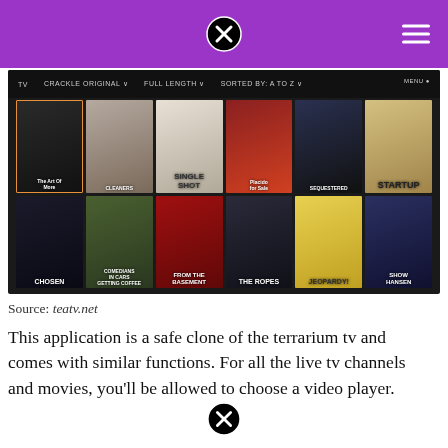[Figure (screenshot): Screenshot of Crackle TV streaming app interface showing a grid of TV show thumbnails including The Art Of More, Cleaners, Single Shot, Sequestered, StartUp, Chosen, Comedians in Cars Getting Coffee, From The Basement, The Ropes, Jeopardy, and others. Top navigation bar shows TV, Crackle Original, Full Length, Sorted By: A to Z, and Menu options.]
Source: teatv.net
This application is a safe clone of the terrarium tv and comes with similar functions. For all the live tv channels and movies, you'll be allowed to choose a video player.